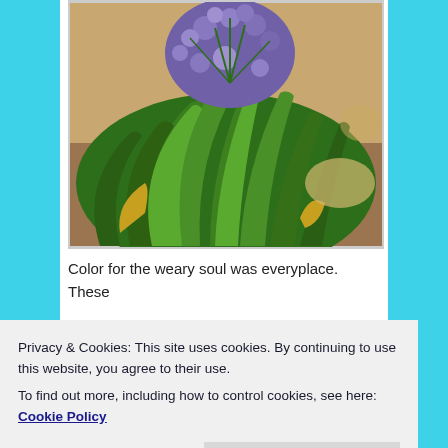[Figure (photo): Photograph of a flowering plant with purple/blue Agapanthus flowers and long green strap-like leaves, set against a sandy/mulched ground background.]
Color for the weary soul was everyplace. These
Privacy & Cookies: This site uses cookies. By continuing to use this website, you agree to their use.
To find out more, including how to control cookies, see here: Cookie Policy
Close and accept